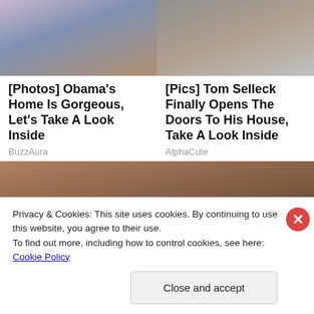[Figure (photo): Photo of Obama's home interior, partial view cropped at top]
[Figure (photo): Photo of Tom Selleck with mustache, cropped at top]
[Photos] Obama's Home Is Gorgeous, Let's Take A Look Inside
BuzzAura
[Pics] Tom Selleck Finally Opens The Doors To His House, Take A Look Inside
AlphaCute
[Figure (photo): Large photo of Tom Selleck with mustache smiling with a woman at a public event]
Privacy & Cookies: This site uses cookies. By continuing to use this website, you agree to their use.
To find out more, including how to control cookies, see here: Cookie Policy
Close and accept